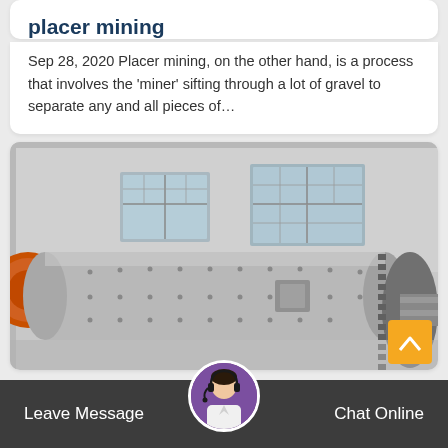placer mining
Sep 28, 2020 Placer mining, on the other hand, is a process that involves the 'miner' sifting through a lot of gravel to separate any and all pieces of…
[Figure (photo): Industrial ball mill machinery with large cylindrical drum and gear wheel, photographed inside a factory/warehouse. Orange drum visible on left side.]
Leave Message
Chat Online